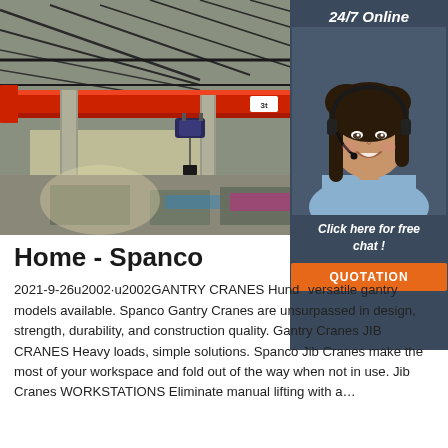[Figure (photo): Industrial warehouse interior showing a red overhead bridge/gantry crane with hoist, steel roof trusses and concrete columns visible in background. The crane beam is labeled '3t'.]
[Figure (photo): Sidebar showing a smiling female customer service agent wearing a headset against a dark blue-grey background, with '24/7 Online' text above and 'Click here for free chat!' and an orange QUOTATION button below.]
Home - Spanco
2021-9-26u2002·u2002GANTRY CRANES Hundreds of versatile gantry models available. Spanco Gantry Cranes are unsurpassed in design, strength, durability, and construction quality. Gantry Cranes JIB CRANES Heavy loads, simple solutions. Spanco Jib Cranes make the most of your workspace and fold out of the way when not in use. Jib Cranes WORKSTATIONS Eliminate manual lifting with a…